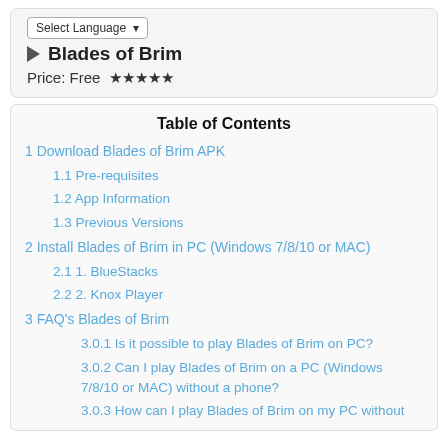[Figure (screenshot): App header showing 'Blades of Brim' with play button icon, price 'Free' and 4-star rating, plus a language selector dropdown]
Table of Contents
1 Download Blades of Brim APK
1.1 Pre-requisites
1.2 App Information
1.3 Previous Versions
2 Install Blades of Brim in PC (Windows 7/8/10 or MAC)
2.1 1. BlueStacks
2.2 2. Knox Player
3 FAQ's Blades of Brim
3.0.1 Is it possible to play Blades of Brim on PC?
3.0.2 Can I play Blades of Brim on a PC (Windows 7/8/10 or MAC) without a phone?
3.0.3 How can I play Blades of Brim on my PC without